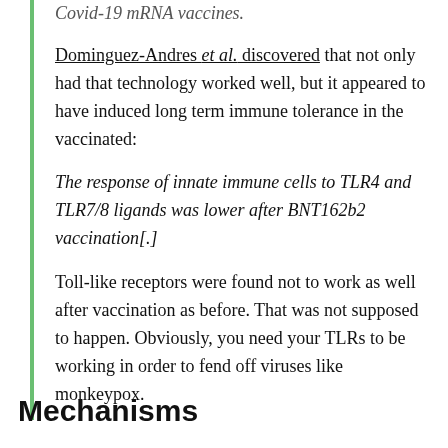Covid-19 mRNA vaccines.
Dominguez-Andres et al. discovered that not only had that technology worked well, but it appeared to have induced long term immune tolerance in the vaccinated:
The response of innate immune cells to TLR4 and TLR7/8 ligands was lower after BNT162b2 vaccination[.]
Toll-like receptors were found not to work as well after vaccination as before. That was not supposed to happen. Obviously, you need your TLRs to be working in order to fend off viruses like monkeypox.
Mechanisms